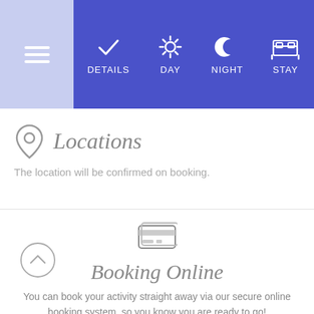[Figure (screenshot): Navigation bar with hamburger menu on left (light blue) and four nav items (DETAILS, DAY, NIGHT, STAY) on right (indigo/blue)]
Locations
The location will be confirmed on booking.
[Figure (illustration): Credit card icon centered above Booking Online section]
Booking Online
You can book your activity straight away via our secure online booking system, so you know you are ready to go! And don't forget, your friends can pay us direct via our event area, so you don't even need to collect payments.
Book Now